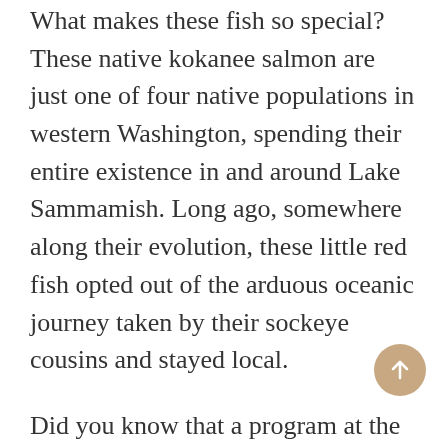What makes these fish so special? These native kokanee salmon are just one of four native populations in western Washington, spending their entire existence in and around Lake Sammamish. Long ago, somewhere along their evolution, these little red fish opted out of the arduous oceanic journey taken by their sockeye cousins and stayed local.
Did you know that a program at the Issaquah Fish Hatchery produced almost 500,000 kokanee fry to help preserve the fish population? And last year's kokanee release saw 46,000 baby fish returned to